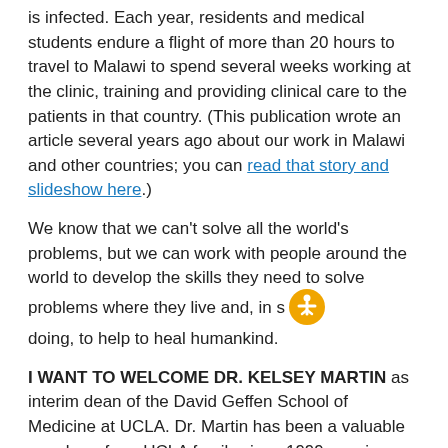is infected. Each year, residents and medical students endure a flight of more than 20 hours to travel to Malawi to spend several weeks working at the clinic, training and providing clinical care to the patients in that country. (This publication wrote an article several years ago about our work in Malawi and other countries; you can read that story and slideshow here.)
We know that we can't solve all the world's problems, but we can work with people around the world to develop the skills they need to solve problems where they live and, in so doing, to help to heal humankind.
I WANT TO WELCOME DR. KELSEY MARTIN as interim dean of the David Geffen School of Medicine at UCLA. Dr. Martin has been a valuable member of our UCLA family since 1999, serving as a senior administrator, researcher and teacher. As interim dean, she will provide strategic vision and develop and manage policy, programs and resource allocation. Welcome, Dr. Martin.